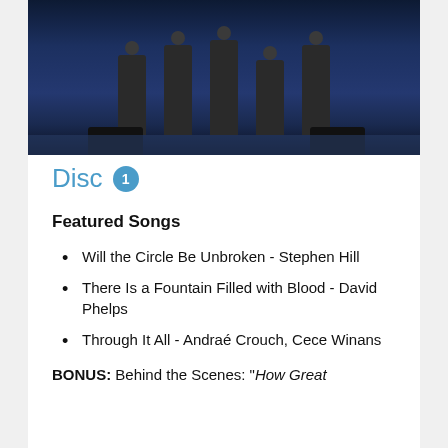[Figure (photo): People standing on a stage with blue stage lighting and monitor speakers visible at the front of the stage]
Disc 1
Featured Songs
Will the Circle Be Unbroken - Stephen Hill
There Is a Fountain Filled with Blood - David Phelps
Through It All - Andraé Crouch, Cece Winans
BONUS: Behind the Scenes: "How Great